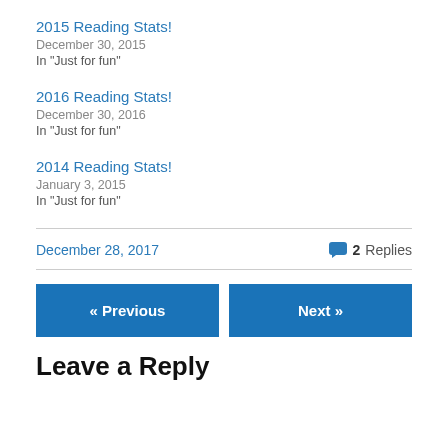2015 Reading Stats!
December 30, 2015
In "Just for fun"
2016 Reading Stats!
December 30, 2016
In "Just for fun"
2014 Reading Stats!
January 3, 2015
In "Just for fun"
December 28, 2017   2 Replies
« Previous
Next »
Leave a Reply